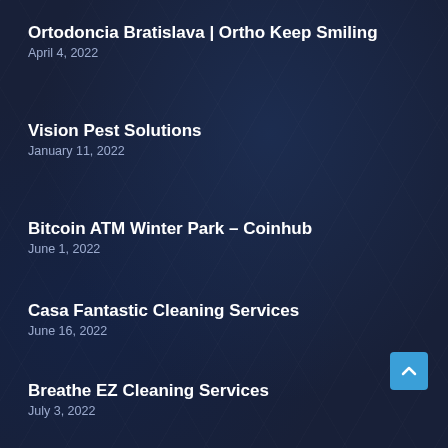Ortodoncia Bratislava | Ortho Keep Smiling
April 4, 2022
Vision Pest Solutions
January 11, 2022
Bitcoin ATM Winter Park – Coinhub
June 1, 2022
Casa Fantastic Cleaning Services
June 16, 2022
Breathe EZ Cleaning Services
July 3, 2022